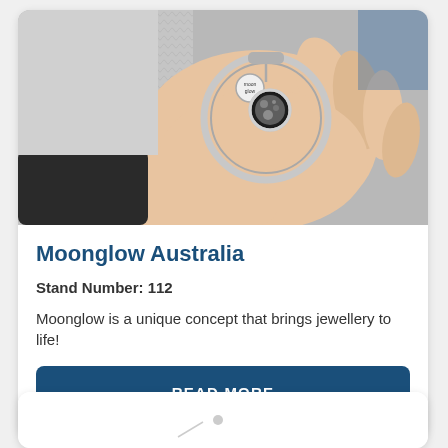[Figure (photo): A hand holding a silver bangle bracelet with a moon phase charm pendant and a small round 'moonglow' branded tag, wearing a grey knit sweater, against a light background.]
Moonglow Australia
Stand Number: 112
Moonglow is a unique concept that brings jewellery to life!
READ MORE
[Figure (photo): Bottom of a second card, partially visible, showing a small dot/circle graphic element.]